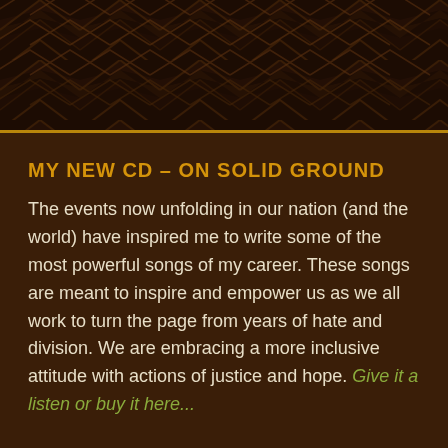[Figure (illustration): Dark brown decorative banner with repeating geometric chevron/triangle pattern in a darker shade, giving a tribal or African-inspired textile appearance.]
MY NEW CD – ON SOLID GROUND
The events now unfolding in our nation (and the world) have inspired me to write some of the most powerful songs of my career. These songs are meant to inspire and empower us as we all work to turn the page from years of hate and division. We are embracing a more inclusive attitude with actions of justice and hope. Give it a listen or buy it here...